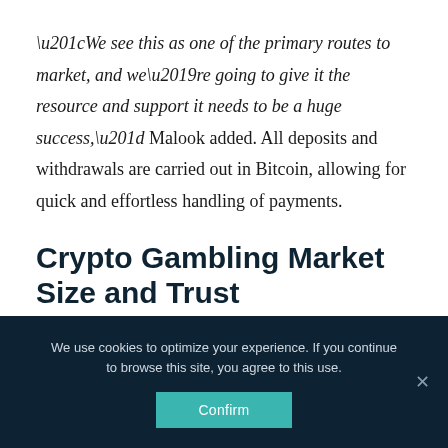“We see this as one of the primary routes to market, and we’re going to give it the resource and support it needs to be a huge success,” Malook added. All deposits and withdrawals are carried out in Bitcoin, allowing for quick and effortless handling of payments.
Crypto Gambling Market Size and Trust
We use cookies to optimize your experience. If you continue to browse this site, you agree to this use.